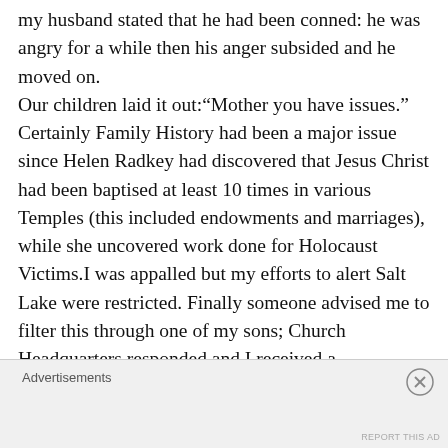my husband stated that he had been conned: he was angry for a while then his anger subsided and he moved on. Our children laid it out:“Mother you have issues.” Certainly Family History had been a major issue since Helen Radkey had discovered that Jesus Christ had been baptised at least 10 times in various Temples (this included endowments and marriages), while she uncovered work done for Holocaust Victims.I was appalled but my efforts to alert Salt Lake were restricted. Finally someone advised me to filter this through one of my sons; Church Headquarters responded and I received a
Advertisements